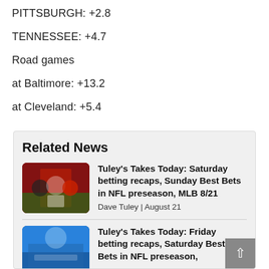PITTSBURGH: +2.8
TENNESSEE: +4.7
Road games
at Baltimore: +13.2
at Cleveland: +5.4
Related News
[Figure (photo): Football players on field with red uniforms]
Tuley's Takes Today: Saturday betting recaps, Sunday Best Bets in NFL preseason, MLB 8/21
Dave Tuley | August 21
[Figure (photo): Stadium crowd scene with blue sky]
Tuley's Takes Today: Friday betting recaps, Saturday Best Bets in NFL preseason,